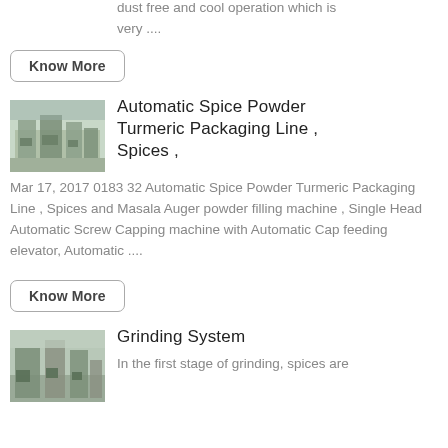dust free and cool operation which is very ....
Know More
[Figure (photo): Industrial factory floor with packaging machinery]
Automatic Spice Powder Turmeric Packaging Line , Spices ,
Mar 17, 2017 0183 32 Automatic Spice Powder Turmeric Packaging Line , Spices and Masala Auger powder filling machine , Single Head Automatic Screw Capping machine with Automatic Cap feeding elevator, Automatic ....
Know More
[Figure (photo): Industrial factory floor with grinding machinery]
Grinding System
In the first stage of grinding, spices are